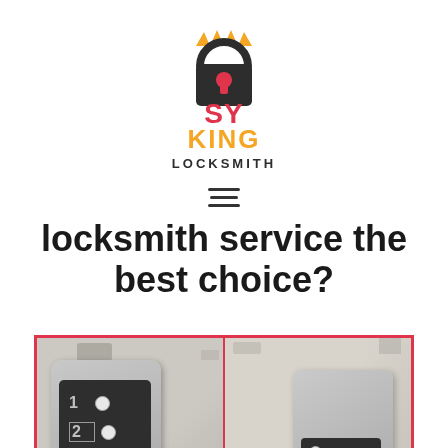[Figure (logo): SY King Locksmith logo: stylized open padlock shackle in dark color with a crown on top, text 'SY' in red, 'KING' in yellow/orange bold, 'LOCKSMITH' in dark/black below]
locksmith service the best choice?
[Figure (photo): Two side-by-side photos of a combination lock/intercom device mounted on a wall with peeling paint. Left photo shows lock keypad with numbers 1, 2, 3 and buttons. Right photo shows the same device from a slightly different angle. Both photos are framed with a red/pink border. A green phone call button icon is overlaid in the bottom right corner.]